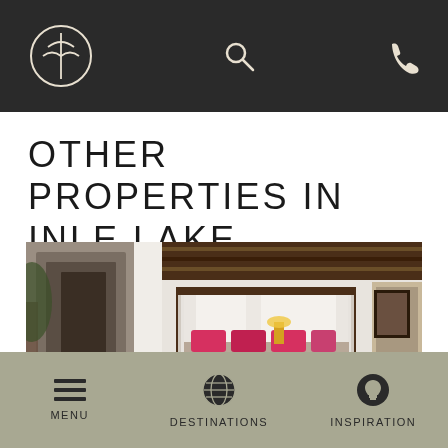Navigation header with logo, search, and phone icons
OTHER PROPERTIES IN INLE LAKE
[Figure (photo): Hotel room interior with four-poster canopy bed draped in white fabric, colorful pillows on a sofa, hardwood floors, white walls with dark wood beams, and a corridor view on the left. Tropical luxury resort style.]
MENU   DESTINATIONS   INSPIRATION